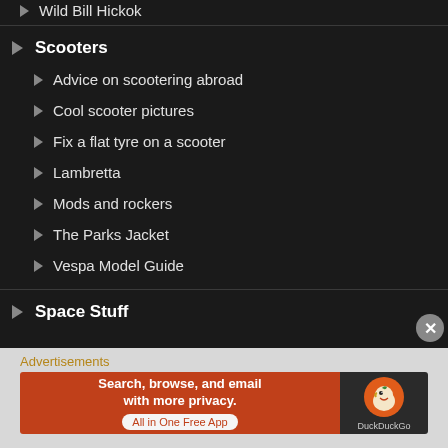Wild Bill Hickok
Scooters
Advice on scootering abroad
Cool scooter pictures
Fix a flat tyre on a scooter
Lambretta
Mods and rockers
The Parks Jacket
Vespa Model Guide
Space Stuff
Advertisements
[Figure (other): DuckDuckGo advertisement banner: Search, browse, and email with more privacy. All in One Free App]